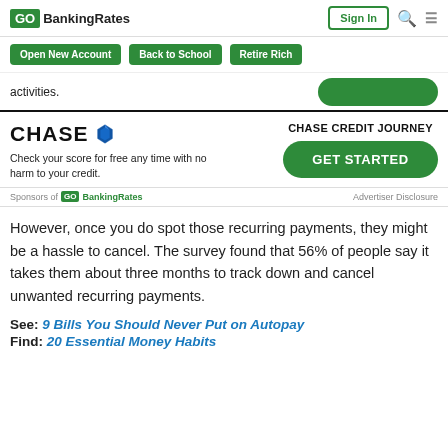GOBankingRates | Sign In
Open New Account | Back to School | Retire Rich
activities.
[Figure (screenshot): Chase Credit Journey advertisement: Chase logo with octagon icon, text 'Check your score for free any time with no harm to your credit.', heading 'CHASE CREDIT JOURNEY', green GET STARTED button]
Sponsors of GOBankingRates   Advertiser Disclosure
However, once you do spot those recurring payments, they might be a hassle to cancel. The survey found that 56% of people say it takes them about three months to track down and cancel unwanted recurring payments.
See: 9 Bills You Should Never Put on Autopay
Find: 20 Essential Money Habits